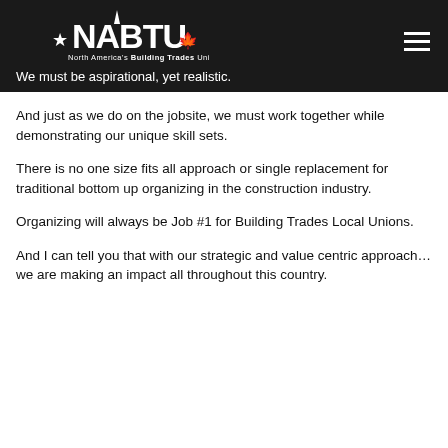We must be aspirational, yet realistic.
[Figure (logo): NABTU North America's Building Trades Unions logo in white on dark background]
And just as we do on the jobsite, we must work together while demonstrating our unique skill sets.
There is no one size fits all approach or single replacement for traditional bottom up organizing in the construction industry.
Organizing will always be Job #1 for Building Trades Local Unions.
And I can tell you that with our strategic and value centric approach… we are making an impact all throughout this country.